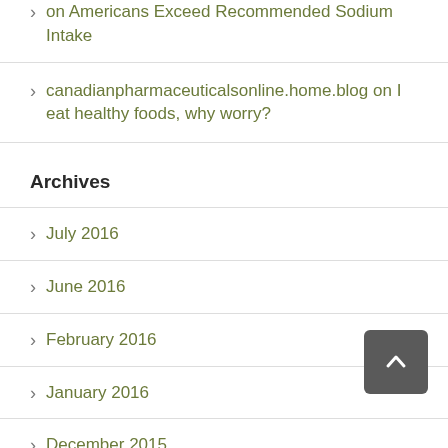on Americans Exceed Recommended Sodium Intake
canadianpharmaceuticalsonline.home.blog on I eat healthy foods, why worry?
Archives
July 2016
June 2016
February 2016
January 2016
December 2015
November 2015